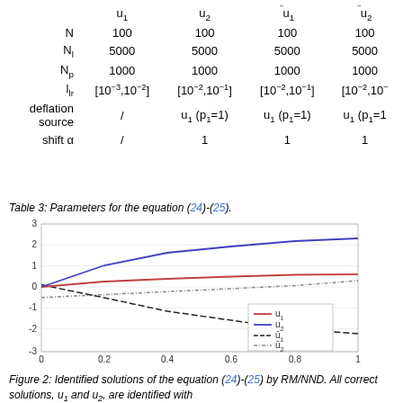|  | u1 | u2 | ū1 | ū2 |
| --- | --- | --- | --- | --- |
| N | 100 | 100 | 100 | 100 |
| Nl | 5000 | 5000 | 5000 | 5000 |
| Np | 1000 | 1000 | 1000 | 1000 |
| llr | [10^-3,10^-2] | [10^-2,10^-1] | [10^-2,10^-1] | [10^-2,10^-1] |
| deflation source | / | u1 (p1=1) | u1 (p1=1) | u1 (p1=1) |
| shift α | / | 1 | 1 | 1 |
Table 3: Parameters for the equation (24)-(25).
[Figure (line-chart): Line chart showing identified solutions of equation (24)-(25). x-axis 0 to 1, y-axis -3 to 3. u1 (red solid) rises from 0 to ~0.6, u2 (blue solid) rises from 0 to ~2.3, ū1 (black dashed) is a straight declining line, ū2 (gray dash-dot) rises slightly from -0.5 to ~0.3.]
Figure 2: Identified solutions of the equation (24)-(25) by RM/NND. All correct solutions, u1 and u2, are identified with